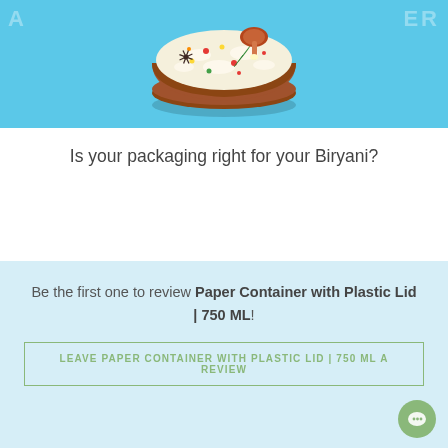[Figure (illustration): Illustration of a biryani dish in a round clay bowl with rice, a chicken leg, spices (star anise, cardamom pod), and colorful garnishes on a light blue background. Faint watermark text partially visible.]
Is your packaging right for your Biryani?
Be the first one to review Paper Container with Plastic Lid | 750 ML!
LEAVE PAPER CONTAINER WITH PLASTIC LID | 750 ML A REVIEW